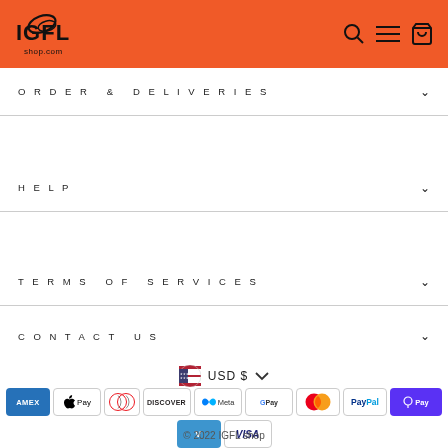[Figure (logo): IGFL shop.com logo on orange header background with search, menu, and cart icons]
ORDER & DELIVERIES
HELP
TERMS OF SERVICES
CONTACT US
[Figure (infographic): Currency selector showing USD $ with dropdown chevron and US flag icon]
[Figure (infographic): Payment method icons: American Express, Apple Pay, Diners Club, Discover, Meta Pay, Google Pay, Mastercard, PayPal, Shop Pay, Venmo, Visa]
© 2022 IGFL shop